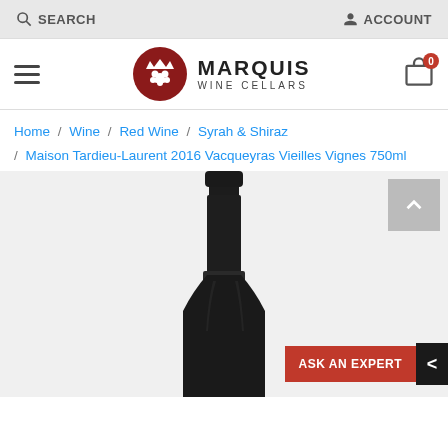SEARCH   ACCOUNT
[Figure (logo): Marquis Wine Cellars logo with red circular emblem featuring a crown and grapes, and text MARQUIS WINE CELLARS]
Home / Wine / Red Wine / Syrah & Shiraz / Maison Tardieu-Laurent 2016 Vacqueyras Vieilles Vignes 750ml
[Figure (photo): Product photo of a dark wine bottle (Maison Tardieu-Laurent 2016 Vacqueyras Vieilles Vignes 750ml) showing the neck and upper body of the bottle against a white/light grey background]